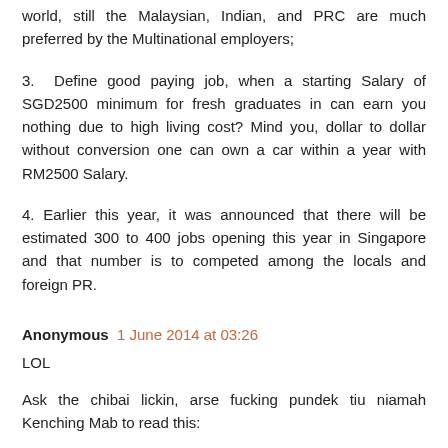world, still the Malaysian, Indian, and PRC are much preferred by the Multinational employers;
3.  Define good paying job, when a starting Salary of SGD2500 minimum for fresh graduates in can earn you nothing due to high living cost? Mind you, dollar to dollar without conversion one can own a car within a year with RM2500 Salary.
4. Earlier this year, it was announced that there will be estimated 300 to 400 jobs opening this year in Singapore and that number is to competed among the locals and foreign PR.
Anonymous  1 June 2014 at 03:26
LOL
Ask the chibai lickin, arse fucking pundek tiu niamah Kenching Mab to read this:
https://sg.news.yahoo.com/pap-mp-inderjit-